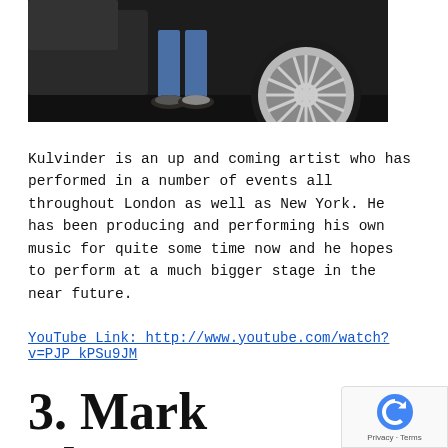[Figure (photo): Photo of a person standing next to a car, showing jeans, sneakers, and a large chrome wheel on the right side. Dark background.]
Kulvinder is an up and coming artist who has performed in a number of events all throughout London as well as New York. He has been producing and performing his own music for quite some time now and he hopes to perform at a much bigger stage in the near future.
YouTube Link: http://www.youtube.com/watch?v=PJP_kPSu9JM
3. Mark Thompson (UK)